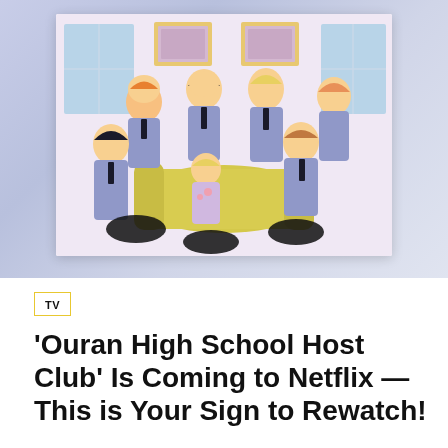[Figure (illustration): Anime illustration of the Ouran High School Host Club characters grouped together in a room with windows, paintings on the wall, and a yellow sofa. Characters are in blue school uniforms. Set against a purple-blue gradient background.]
TV
'Ouran High School Host Club' Is Coming to Netflix — This is Your Sign to Rewatch!